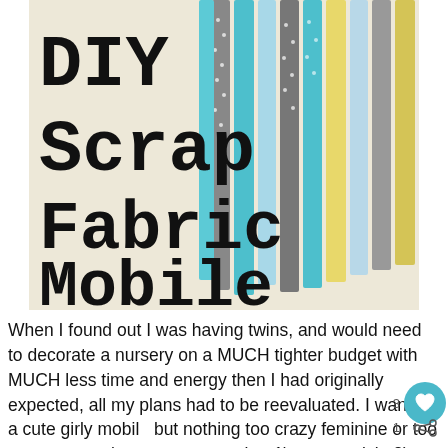[Figure (photo): Photo of a DIY Scrap Fabric Mobile. Left side has large typewriter-font text reading 'DIY Scrap Fabric Mobile' on a cream/beige background. Right side shows colorful fabric strips (teal, gray polka dot, light blue, yellow) hanging from a bar.]
When I found out I was having twins, and would need to decorate a nursery on a MUCH tighter budget with MUCH less time and energy then I had originally expected, all my plans had to be reevaluated. I wanted a cute girly mobil but nothing too crazy feminine or too crazy expensive. to be: 1) super quick, 2) super easy, and 3) super cute.